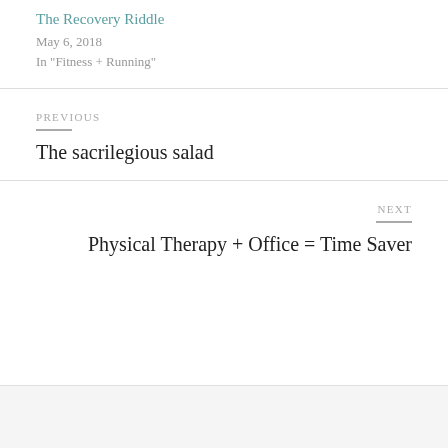The Recovery Riddle
May 6, 2018
In "Fitness + Running"
PREVIOUS
The sacrilegious salad
NEXT
Physical Therapy + Office = Time Saver